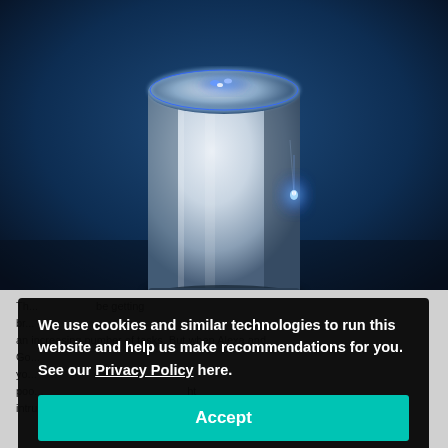[Figure (photo): A smart speaker device (resembling Amazon Echo/Alexa) photographed against a dark blue background. The cylindrical white speaker has glowing blue LED lights on its top rim and front face.]
The ... be getting br... ior ... r an increasing number of tasks. But when Alexa and. Go... you... poo... rite ... the ... ght intrusion, and corporate spying. Are these legitimate ...
We use cookies and similar technologies to run this website and help us make recommendations for you. See our Privacy Policy here.
Accept